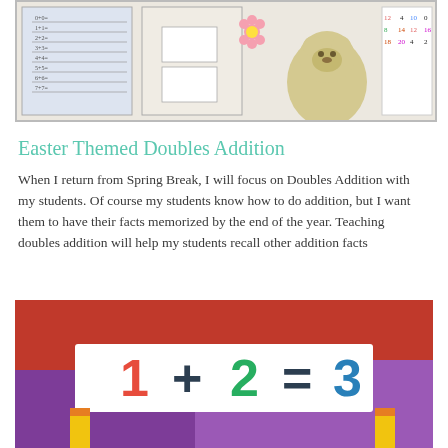[Figure (photo): Easter themed doubles addition worksheet with teddy bear and colorful number grid]
Easter Themed Doubles Addition
When I return from Spring Break, I will focus on Doubles Addition with my students. Of course my students know how to do addition, but I want them to have their facts memorized by the end of the year. Teaching doubles addition will help my students recall other addition facts
Read More »
[Figure (photo): Photo showing a colorful classroom display with '1 + 2 = 3' on a white card against a red and purple background with paper crayon decorations]